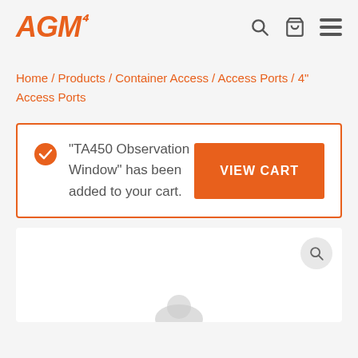AGM [logo] | search icon | cart icon | menu icon
Home / Products / Container Access / Access Ports / 4" Access Ports
"TA450 Observation Window" has been added to your cart. VIEW CART
[Figure (photo): Product image area with a search magnifier button, partially showing a product at the bottom]